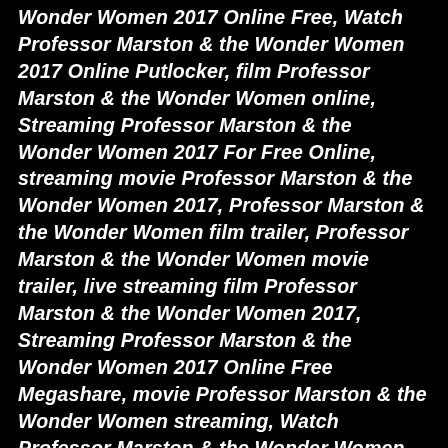Wonder Women 2017 Online Free, Watch Professor Marston & the Wonder Women 2017 Online Putlocker, film Professor Marston & the Wonder Women online, Streaming Professor Marston & the Wonder Women 2017 For Free Online, streaming movie Professor Marston & the Wonder Women 2017, Professor Marston & the Wonder Women film trailer, Professor Marston & the Wonder Women movie trailer, live streaming film Professor Marston & the Wonder Women 2017, Streaming Professor Marston & the Wonder Women 2017 Online Free Megashare, movie Professor Marston & the Wonder Women streaming, Watch Professor Marston & the Wonder Women 2017 For Free online, film Professor Marston & the Wonder Women 2017 online streaming, download Professor Marston & the Wonder Women 2017 movie now, movie Professor Marston & the Wonder Women 2017 download, watch full movie